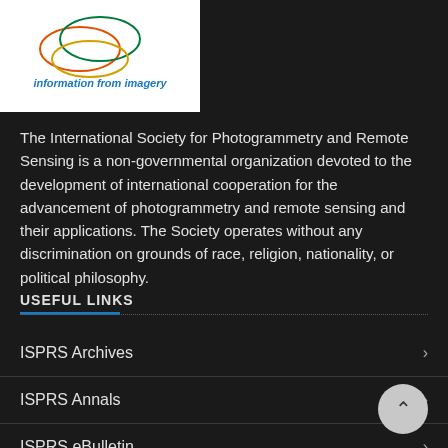[Figure (logo): ISPRS logo with colored circles and text 'information from imagery']
The International Society for Photogrammetry and Remote Sensing is a non-governmental organization devoted to the development of international cooperation for the advancement of photogrammetry and remote sensing and their applications. The Society operates without any discrimination on grounds of race, religion, nationality, or political philosophy.
USEFUL LINKS
ISPRS Archives
ISPRS Annals
ISPRS eBulletin
Calendar 2022